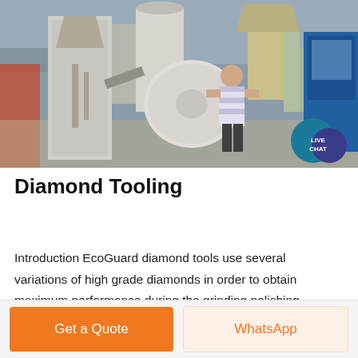[Figure (photo): Industrial grinding/milling machinery with a worker in a striped shirt, large cylindrical equipment and hoppers, blue truck on the right, outdoor industrial setting]
Diamond Tooling
Introduction EcoGuard diamond tools use several variations of high grade diamonds in order to obtain maximum performance during the grinding polishing process Our diamond elements produce a consistent aggressive scratch pattern no matter the hardness level of the aggregate within the concrete.
Get Price
Get a Quote
WhatsApp